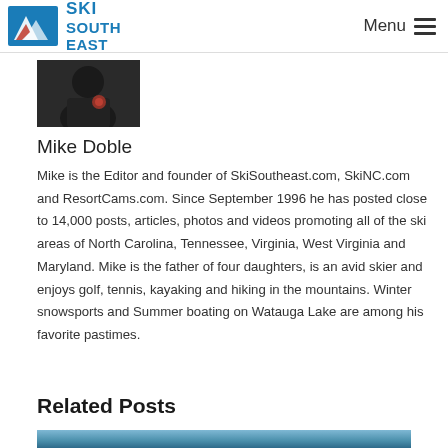SKI SOUTH EAST — Menu
[Figure (photo): Author photo of Mike Doble — dark image of a person]
Mike Doble
Mike is the Editor and founder of SkiSoutheast.com, SkiNC.com and ResortCams.com. Since September 1996 he has posted close to 14,000 posts, articles, photos and videos promoting all of the ski areas of North Carolina, Tennessee, Virginia, West Virginia and Maryland. Mike is the father of four daughters, is an avid skier and enjoys golf, tennis, kayaking and hiking in the mountains. Winter snowsports and Summer boating on Watauga Lake are among his favorite pastimes.
Related Posts
[Figure (photo): Blue gradient image — partial view of a related post thumbnail]